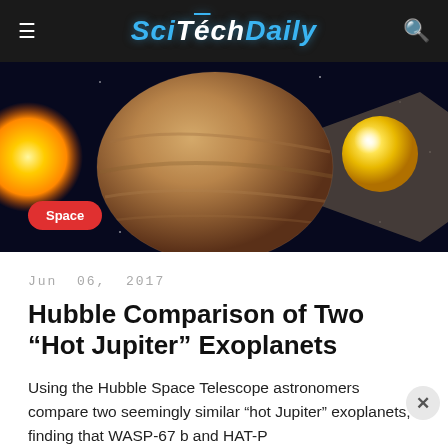SciTechDaily
[Figure (illustration): Space illustration showing two exoplanets — a large brownish rocky hot Jupiter exoplanet in the center with a cone/fan shape, a yellow-orange star on the left, and a smaller bright yellow planet on the right, against a dark space background. A red 'Space' badge is overlaid in the bottom-left area.]
Jun 06, 2017
Hubble Comparison of Two “Hot Jupiter” Exoplanets
Using the Hubble Space Telescope astronomers compare two seemingly similar “hot Jupiter” exoplanets, finding that WASP-67 b and HAT-P...